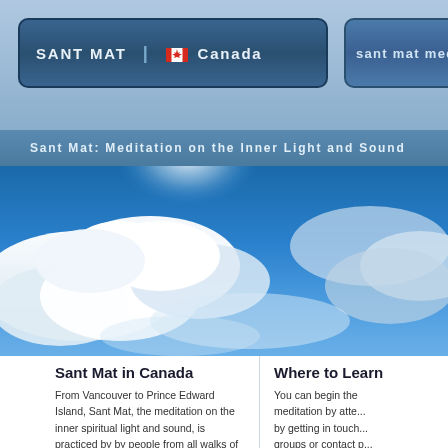SANT MAT | Canada
sant mat meditation in d...
Sant Mat: Meditation on the Inner Light and Sound
[Figure (photo): Sky photo with clouds and blue sky, panoramic banner image]
Sant Mat in Canada
From Vancouver to Prince Edward Island, Sant Mat, the meditation on the inner spiritual light and sound, is practiced by by people from all walks of life...
Authorized representatives hold ongoing
Where to Learn
You can begin the meditation by atte... by getting in touch... groups or contact p... city from the list be... to find out more i...